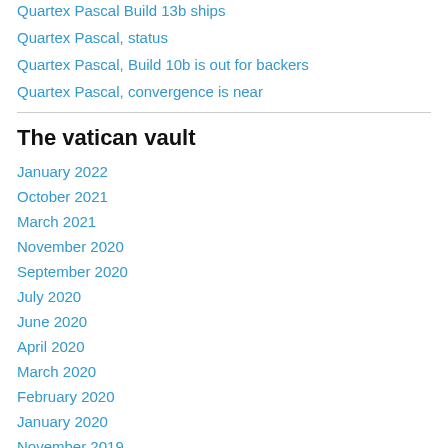Quartex Pascal Build 13b ships
Quartex Pascal, status
Quartex Pascal, Build 10b is out for backers
Quartex Pascal, convergence is near
The vatican vault
January 2022
October 2021
March 2021
November 2020
September 2020
July 2020
June 2020
April 2020
March 2020
February 2020
January 2020
November 2019